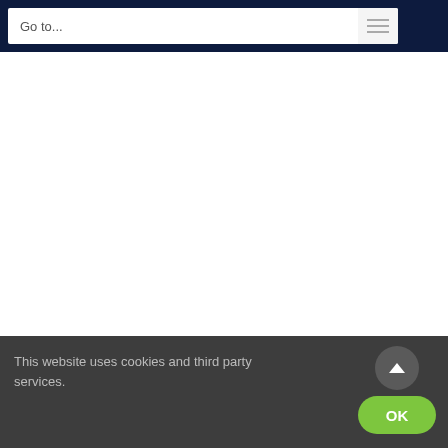Go to...
Keya Paha County, Nebraska Courthouse Record
This website uses cookies and third party services.